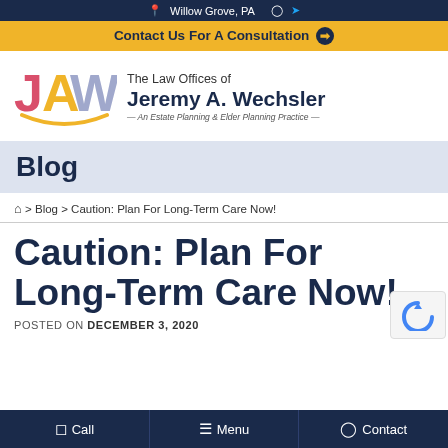Willow Grove, PA
Contact Us For A Consultation
[Figure (logo): JAW logo with pink J, yellow A, lavender W letters, arc underneath]
The Law Offices of Jeremy A. Wechsler — An Estate Planning & Elder Planning Practice —
Blog
Home > Blog > Caution: Plan For Long-Term Care Now!
Caution: Plan For Long-Term Care Now!
POSTED ON DECEMBER 3, 2020
Call   Menu   Contact